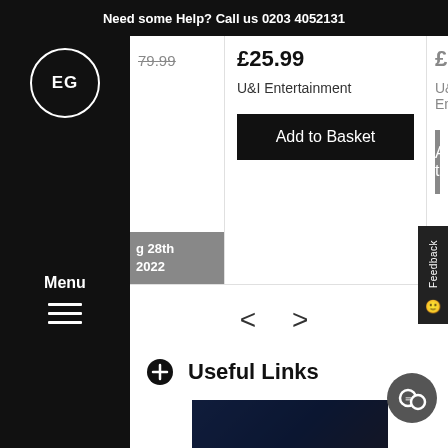Need some Help? Call us 0203 4052131
[Figure (logo): EG logo in circle on black sidebar]
Menu
£79.99
g 28th 2022
£25.99
U&I Entertainment
Add to Basket
£21.99
U&I Entertainment
Add to
< >
Useful Links
[Figure (photo): Dark blue/night scene photo at bottom of page]
Feedback